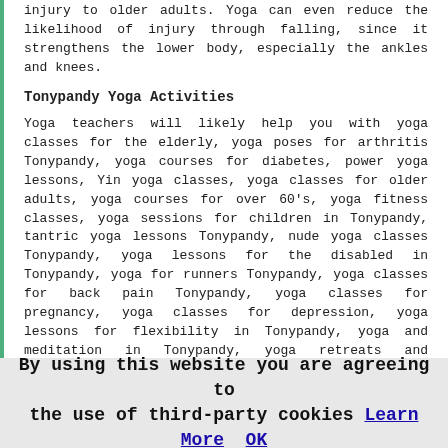injury to older adults. Yoga can even reduce the likelihood of injury through falling, since it strengthens the lower body, especially the ankles and knees.
Tonypandy Yoga Activities
Yoga teachers will likely help you with yoga classes for the elderly, yoga poses for arthritis Tonypandy, yoga courses for diabetes, power yoga lessons, Yin yoga classes, yoga classes for older adults, yoga courses for over 60's, yoga fitness classes, yoga sessions for children in Tonypandy, tantric yoga lessons Tonypandy, nude yoga classes Tonypandy, yoga lessons for the disabled in Tonypandy, yoga for runners Tonypandy, yoga classes for back pain Tonypandy, yoga classes for pregnancy, yoga classes for depression, yoga lessons for flexibility in Tonypandy, yoga and meditation in Tonypandy, yoga retreats and workshops in Tonypandy, yoga classes for poses in Tonypandy, yoga lessons for weight loss in Tonypandy, yoga sessions for mum and baby Tonypandy, yoga classes for anxiety in Tonypandy, Kundalini yoga classes in Tonypandy, Bikram yoga classes Tonypandy, yoga courses for families Tonypandy and other yoga related activities in Tonypandy, Wales. These are just a few of the activities
By using this website you are agreeing to the use of third-party cookies Learn More OK